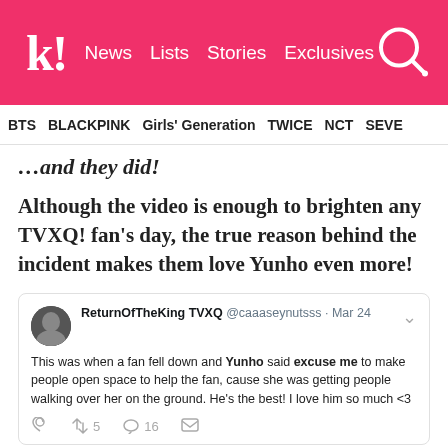k! News  Lists  Stories  Exclusives
BTS  BLACKPINK  Girls' Generation  TWICE  NCT  SEVE…
…and they did!
Although the video is enough to brighten any TVXQ! fan's day, the true reason behind the incident makes them love Yunho even more!
[Figure (screenshot): Embedded tweet from ReturnOfTheKing TVXQ @caaaseynutsss · Mar 24: 'This was when a fan fell down and Yunho said excuse me to make people open space to help the fan, cause she was getting people walking over her on the ground. He's the best! I love him so much <3' with reply, retweet (5), like (16), and mail icons.]